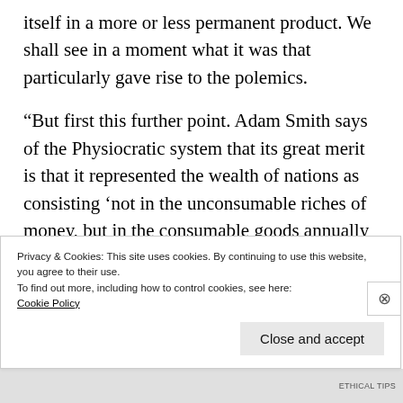itself in a more or less permanent product. We shall see in a moment what it was that particularly gave rise to the polemics.
“But first this further point. Adam Smith says of the Physiocratic system that its great merit is that it represented the wealth of nations as consisting ‘not in the unconsumable riches of money, but in the consumable goods annually produced by the
Privacy & Cookies: This site uses cookies. By continuing to use this website, you agree to their use.
To find out more, including how to control cookies, see here:
Cookie Policy
Close and accept